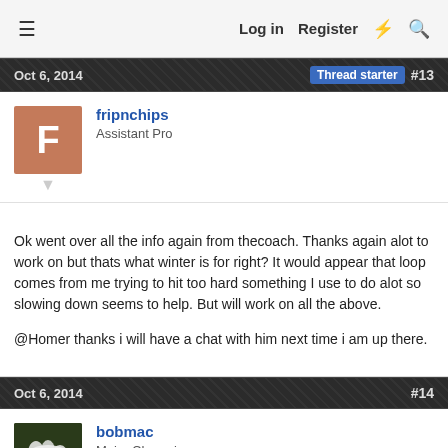Log in   Register
Oct 6, 2014   Thread starter  #13
fripnchips
Assistant Pro
Ok went over all the info again from thecoach. Thanks again alot to work on but thats what winter is for right? It would appear that loop comes from me trying to hit too hard something I use to do alot so slowing down seems to help. But will work on all the above.

@Homer thanks i will have a chat with him next time i am up there.
Oct 6, 2014   #14
bobmac
Major Champion